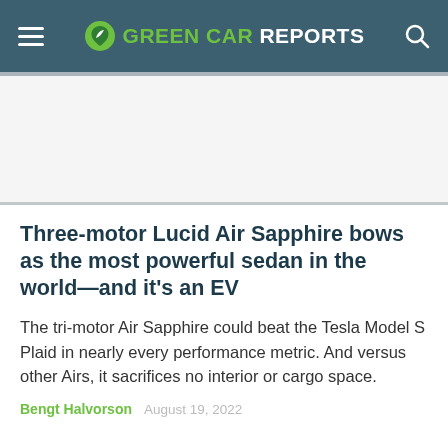GREEN CAR REPORTS
Three-motor Lucid Air Sapphire bows as the most powerful sedan in the world—and it's an EV
The tri-motor Air Sapphire could beat the Tesla Model S Plaid in nearly every performance metric. And versus other Airs, it sacrifices no interior or cargo space.
Bengt Halvorson  August 19, 2022